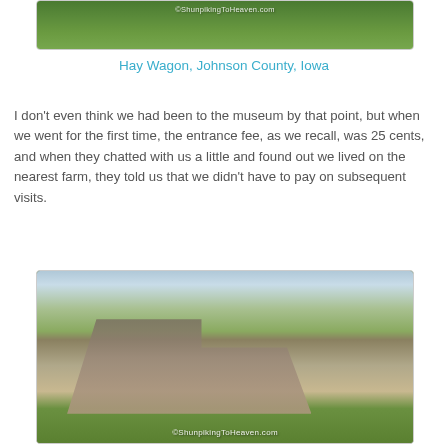[Figure (photo): Top portion of a hay wagon photo showing green grass/vegetation with a watermark reading ©ShunpikingToHeaven.com]
Hay Wagon, Johnson County, Iowa
I don't even think we had been to the museum by that point, but when we went for the first time, the entrance fee, as we recall, was 25 cents, and when they chatted with us a little and found out we lived on the nearest farm, they told us that we didn't have to pay on subsequent visits.
[Figure (photo): A historic log cabin with grey weathered horizontal logs, a steep gabled roof, surrounded by large green trees on a sunny day. Watermark reads ©ShunpikingToHeaven.com at the bottom.]